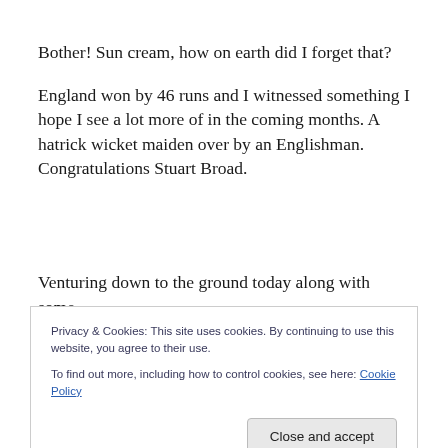Bother! Sun cream, how on earth did I forget that?
England won by 46 runs and I witnessed something I hope I see a lot more of in the coming months. A hatrick wicket maiden over by an Englishman. Congratulations Stuart Broad.
Venturing down to the ground today along with some
Privacy & Cookies: This site uses cookies. By continuing to use this website, you agree to their use.
To find out more, including how to control cookies, see here: Cookie Policy
Close and accept
of those fan shirts today.